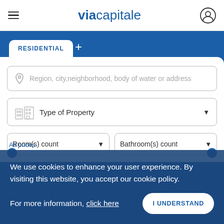via capitale — navigation header with hamburger menu and user icon
RESIDENTIAL +
Region, city,neighborhood, body of water or address
Type of Property
Room(s) count
Bathroom(s) count
All prices
For Sale   For Rent
We use cookies to enhance your user experience. By visiting this website, you accept our cookie policy.

For more information, click here
I UNDERSTAND